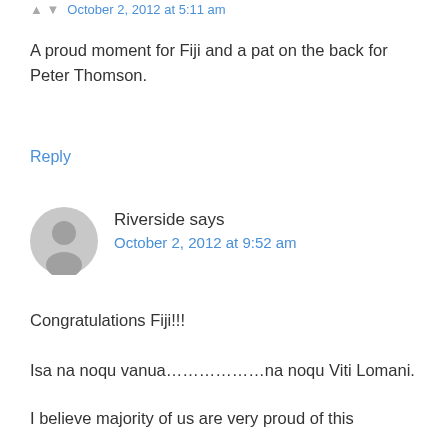October 2, 2012 at 5:11 am
A proud moment for Fiji and a pat on the back for Peter Thomson.
Reply
Riverside says
October 2, 2012 at 9:52 am
Congratulations Fiji!!!
Isa na noqu vanua………………na noqu Viti Lomani.
I believe majority of us are very proud of this